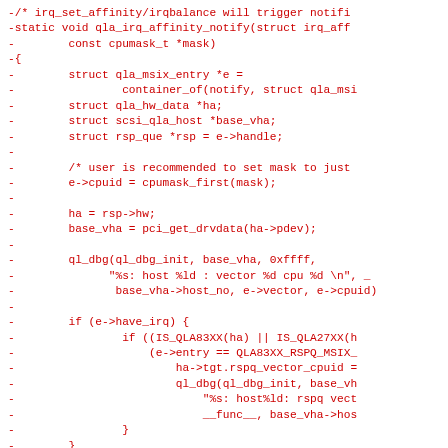[Figure (other): Diff/patch code block in red monospace font showing removal of qla_irq_affinity_notify function and related code]